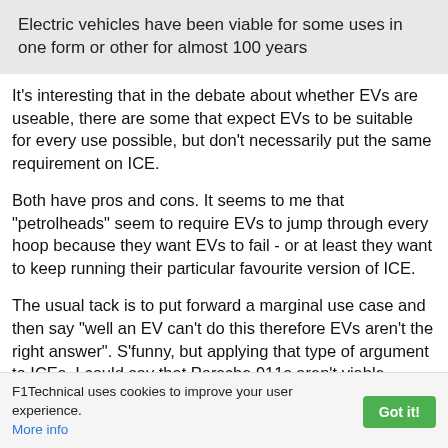Electric vehicles have been viable for some uses in one form or other for almost 100 years
It's interesting that in the debate about whether EVs are useable, there are some that expect EVs to be suitable for every use possible, but don't necessarily put the same requirement on ICE.
Both have pros and cons. It seems to me that "petrolheads" seem to require EVs to jump through every hoop because they want EVs to fail - or at least they want to keep running their particular favourite version of ICE.
The usual tack is to put forward a marginal use case and then say "well an EV can't do this therefore EVs aren't the right answer". S'funny, but applying that type of argument to ICEs, I could say that Porsche 911s aren't viable
F1Technical uses cookies to improve your user experience. More info  Got it!